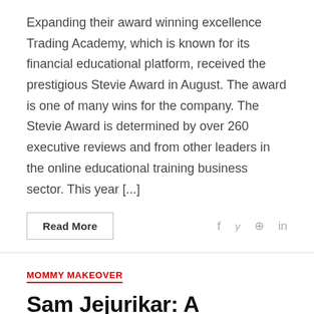Expanding their award winning excellence Trading Academy, which is known for its financial educational platform, received the prestigious Stevie Award in August. The award is one of many wins for the company. The Stevie Award is determined by over 260 executive reviews and from other leaders in the online educational training business sector. This year [...]
Read More
MOMMY MAKEOVER
Sam Jejurikar: A Mommy Makeover To Cherish